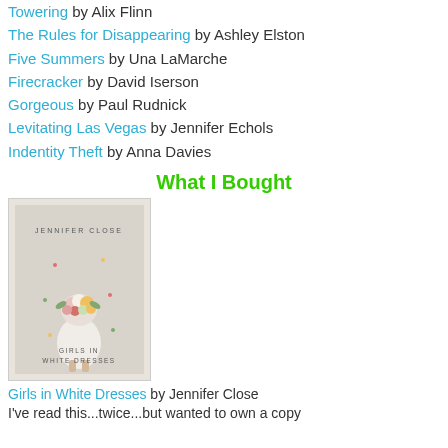Towering by Alix Flinn
The Rules for Disappearing by Ashley Elston
Five Summers by Una LaMarche
Firecracker by David Iserson
Gorgeous by Paul Rudnick
Levitating Las Vegas by Jennifer Echols
Indentity Theft by Anna Davies
What I Bought
[Figure (photo): Book cover of 'Girls in White Dresses' by Jennifer Close — a woman in a white dress holding a bouquet of colorful flowers covering her face, against a light gray background, with the author name and title text on the cover.]
Girls in White Dresses by Jennifer Close
I've read this...twice...but wanted to own a copy